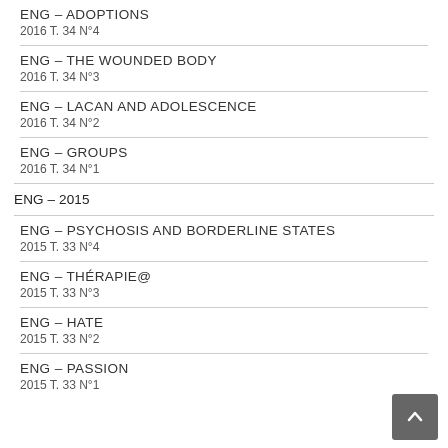ENG – ADOPTIONS
2016 T. 34 N°4
ENG – THE WOUNDED BODY
2016 T. 34 N°3
ENG – LACAN AND ADOLESCENCE
2016 T. 34 N°2
ENG – GROUPS
2016 T. 34 N°1
ENG – 2015
ENG – PSYCHOSIS AND BORDERLINE STATES
2015 T. 33 N°4
ENG – THÉRAPIE@
2015 T. 33 N°3
ENG – HATE
2015 T. 33 N°2
ENG – PASSION
2015 T. 33 N°1